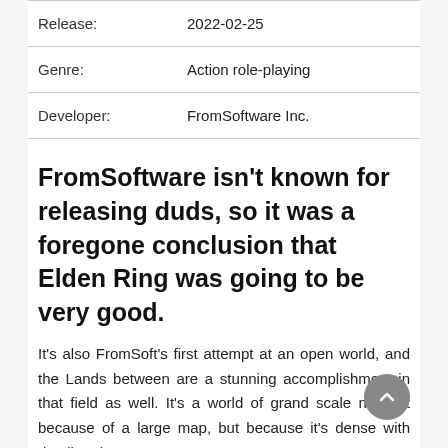| Field | Value |
| --- | --- |
| Release: | 2022-02-25 |
| Genre: | Action role-playing |
| Developer: | FromSoftware Inc. |
FromSoftware isn't known for releasing duds, so it was a foregone conclusion that Elden Ring was going to be very good.
It's also FromSoft's first attempt at an open world, and the Lands between are a stunning accomplishment in that field as well. It's a world of grand scale not just because of a large map, but because it's dense with detail and every